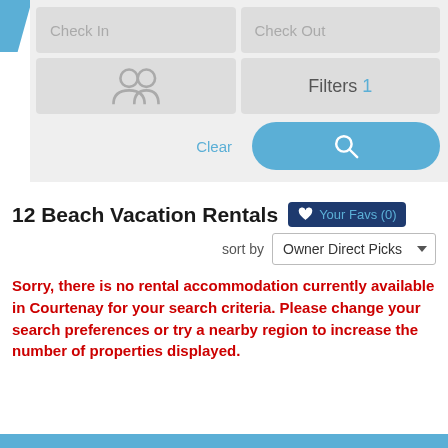[Figure (screenshot): Search form with Check In, Check Out, guests icon, Filters 1, Clear button, and search icon button]
12 Beach Vacation Rentals
Your Favs (0)
sort by Owner Direct Picks
Sorry, there is no rental accommodation currently available in Courtenay for your search criteria. Please change your search preferences or try a nearby region to increase the number of properties displayed.